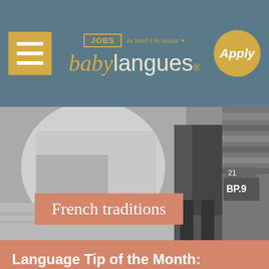[Figure (screenshot): Babylangues Jobs website header with hamburger menu, logo with 'JOBS' badge and 'du babif à la langue' tagline, and golden 'Apply' circular button on steel blue background]
[Figure (photo): Black and white photograph showing people's lower bodies/legs with skirts, partial view of a vehicle with 'BP9' visible]
French traditions
[Figure (illustration): Tan/brown background with decorative blue flowers, red dots, and white cartoon birds illustration for Language Tip section]
Language Tip of the Month: Bonjour / Bonsoir